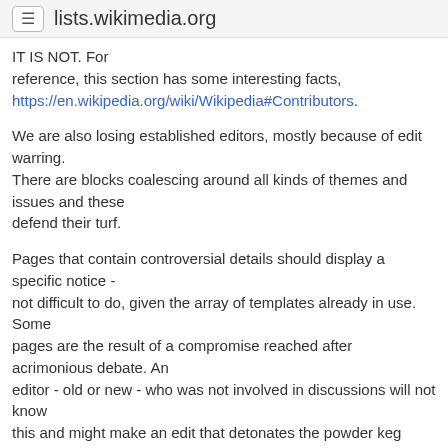lists.wikimedia.org
IT IS NOT. For reference, this section has some interesting facts, https://en.wikipedia.org/wiki/Wikipedia#Contributors.
We are also losing established editors, mostly because of edit warring.
There are blocks coalescing around all kinds of themes and issues and these
defend their turf.
Pages that contain controversial details should display a specific notice -
not difficult to do, given the array of templates already in use. Some
pages are the result of a compromise reached after acrimonious debate. An
editor - old or new - who was not involved in discussions will not know
this and might make an edit that detonates the powder keg
and starts the